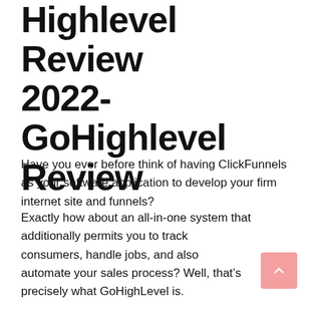Highlevel Review 2022- GoHighlevel Review
Have you ever before think of having ClickFunnels as your software application to develop your firm internet site and funnels?
Exactly how about an all-in-one system that additionally permits you to track consumers, handle jobs, and also automate your sales process? Well, that’s precisely what GoHighLevel is.